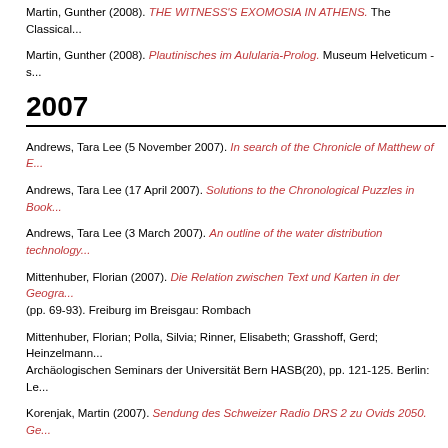Martin, Gunther (2008). THE WITNESS'S EXOMOSIA IN ATHENS. The Classical...
Martin, Gunther (2008). Plautinisches im Aulularia-Prolog. Museum Helveticum - s...
2007
Andrews, Tara Lee (5 November 2007). In search of the Chronicle of Matthew of E...
Andrews, Tara Lee (17 April 2007). Solutions to the Chronological Puzzles in Book...
Andrews, Tara Lee (3 March 2007). An outline of the water distribution technology...
Mittenhuber, Florian (2007). Die Relation zwischen Text und Karten in der Geograp... (pp. 69-93). Freiburg im Breisgau: Rombach
Mittenhuber, Florian; Polla, Silvia; Rinner, Elisabeth; Grasshoff, Gerd; Heinzelmann... Archäologischen Seminars der Universität Bern HASB(20), pp. 121-125. Berlin: Le...
Korenjak, Martin (2007). Sendung des Schweizer Radio DRS 2 zu Ovids 2050. Ge...
Korenjak, Martin; Martin, Gunther (2007). Alte Sprachen brandaktuell / Langues a...
Korenjak, Martin (2007). Von den Metamorphosen zum Augustinerbrief: Ovids "ho... Darmstadt: Wissenschaftliche Buchgesellschaft WBG
Bechtle, Gerald (2007). How to Apply the Modern Concepts of Mathesis Universali... Turner, John D. (eds.) Platonisms: Ancient, Modern, and Post...